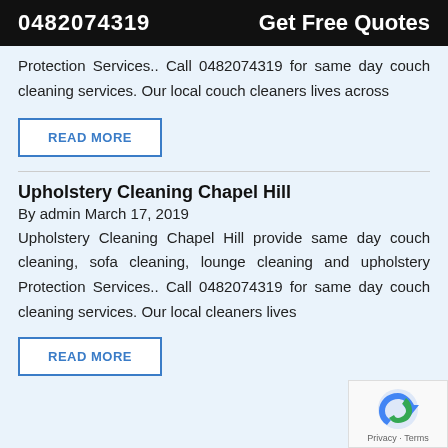0482074319  Get Free Quotes
Protection Services.. Call 0482074319 for same day couch cleaning services. Our local couch cleaners lives across
READ MORE
Upholstery Cleaning Chapel Hill
By admin March 17, 2019
Upholstery Cleaning Chapel Hill provide same day couch cleaning, sofa cleaning, lounge cleaning and upholstery Protection Services.. Call 0482074319 for same day couch cleaning services. Our local cleaners lives
READ MORE